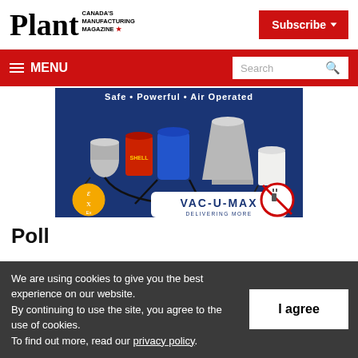Plant — Canada's Manufacturing Magazine
[Figure (screenshot): Subscribe button (red background, white text with dropdown arrow)]
[Figure (screenshot): Navigation bar with hamburger MENU on left and Search box on right]
[Figure (photo): VAC-U-MAX advertisement showing industrial vacuum equipment on blue background with ATEX hazardous area symbol and no-electricity symbol. Text reads: Safe • Powerful • Air Operated, VAC-U-MAX DELIVERING MORE]
Poll
We are using cookies to give you the best experience on our website. By continuing to use the site, you agree to the use of cookies. To find out more, read our privacy policy.